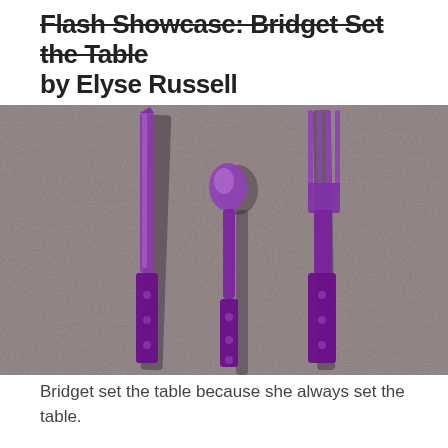Flash Showcase: Bridget Set the Table by Elyse Russell
[Figure (photo): A photo of purple/magenta cutlery (knife, spoon, and fork) arranged on a gray textured fabric background. The utensils have dark handles with rivets and are displayed against the textile surface casting shadows.]
Bridget set the table because she always set the table.
Every evening at six o' clock, she laid out the dishes